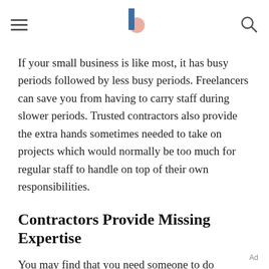[navigation bar with hamburger menu, logo, and search icon]
If your small business is like most, it has busy periods followed by less busy periods. Freelancers can save you from having to carry staff during slower periods. Trusted contractors also provide the extra hands sometimes needed to take on projects which would normally be too much for regular staff to handle on top of their own responsibilities.
Contractors Provide Missing Expertise
You may find that you need someone to do perform specific tasks or launch projects which fall outside your regular employees' scopes of expertise. Hiring an
Ad